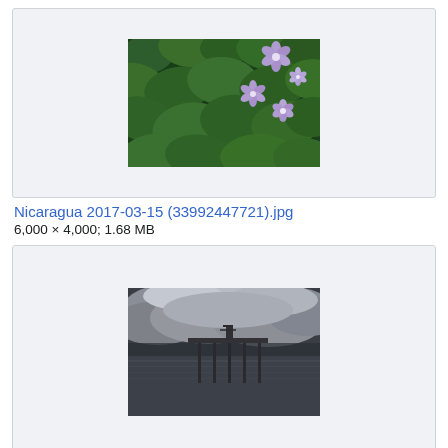[Figure (photo): Thumbnail of water hyacinth plants with purple flowers and green leaves, dense coverage]
Nicaragua 2017-03-15 (33992447721).jpg
6,000 × 4,000; 1.68 MB
[Figure (photo): Thumbnail of a pier/dock under dramatic cloudy stormy sky over water]
Nicaragua 2017-03-15 (34082251496).jpg
5,801 × 3,825; 1.39 MB